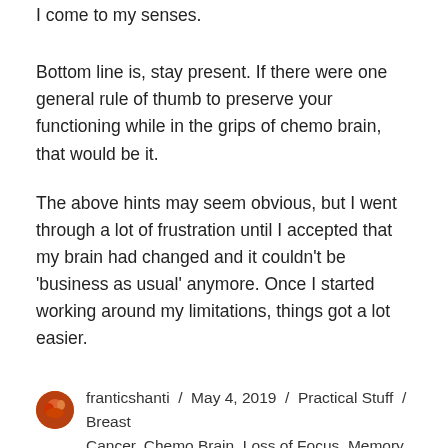I come to my senses.
Bottom line is, stay present. If there were one general rule of thumb to preserve your functioning while in the grips of chemo brain, that would be it.
The above hints may seem obvious, but I went through a lot of frustration until I accepted that my brain had changed and it couldn't be 'business as usual' anymore. Once I started working around my limitations, things got a lot easier.
franticshanti / May 4, 2019 / Practical Stuff / Breast Cancer, Chemo Brain, Loss of Focus, Memory Loss, Remembering, Tamoxifen / 5 Comments